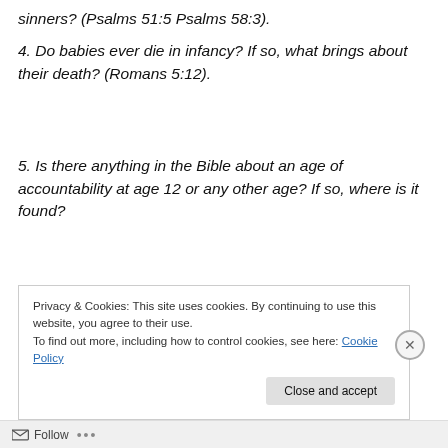sinners? (Psalms 51:5 Psalms 58:3).
4. Do babies ever die in infancy? If so, what brings about their death? (Romans 5:12).
5. Is there anything in the Bible about an age of accountability at age 12 or any other age? If so, where is it found?
Privacy & Cookies: This site uses cookies. By continuing to use this website, you agree to their use.
To find out more, including how to control cookies, see here: Cookie Policy
Follow